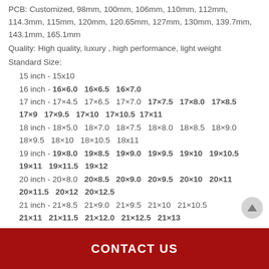PCB: Customized, 98mm, 100mm, 106mm, 110mm, 112mm, 114.3mm, 115mm, 120mm, 120.65mm, 127mm, 130mm, 139.7mm, 143.1mm, 165.1mm
Quality: High quality, luxury , high performance, light weight
Standard Size:
15 inch - 15x10
16 inch - 16×6.0  16×6.5  16×7.0
17 inch - 17×4.5  17×6.5  17×7.0  17×7.5  17×8.0  17×8.5  17×9  17×9.5  17×10  17×10.5  17×11
18 inch - 18×5.0  18×7.0  18×7.5  18×8.0  18×8.5  18×9.0  18×9.5  18×10  18×10.5  18x11
19 inch - 19×8.0  19×8.5  19×9.0  19×9.5  19×10  19×10.5  19×11  19×11.5  19×12
20 inch - 20×8.0  20×8.5  20×9.0  20×9.5  20×10  20×11  20×11.5  20×12  20×12.5
21 inch - 21×8.5  21×9.0  21×9.5  21×10  21×10.5  21×11  21×11.5  21×12.0  21×12.5  21×13
22 inch - 22×8.5  22×9.0  22×9.5  22×10  22×10.5  22×11
CONTACT US